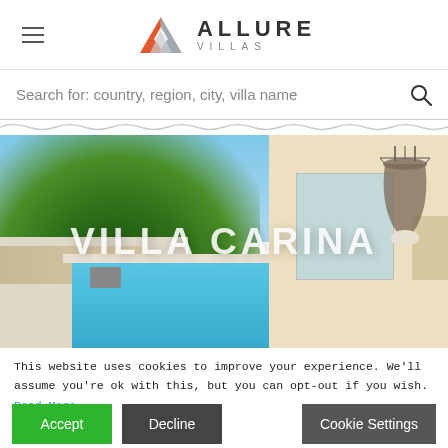Allure Villas — navigation header with logo
Search for: country, region, city, villa name
[Figure (photo): Outdoor photo of Villa Carina showing a swimming pool, stone wall, trees, and a hanging swing chair next to a modern house]
VILLA CARINA
This website uses cookies to improve your experience. We'll assume you're ok with this, but you can opt-out if you wish. Read More
Accept | Decline | Cookie Settings